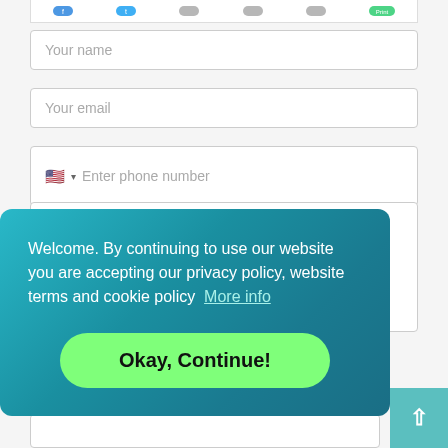[Figure (screenshot): Icon/social sharing bar at the top with colored icons]
Your name
Your email
Enter phone number
Hello,

I am interested in more information about property of: Edifice land for sale (ID: 3836), which you are advertising on the REALLYST.

Thank you for your time and
Welcome. By continuing to use our website you are accepting our privacy policy, website terms and cookie policy  More info
Okay, Continue!